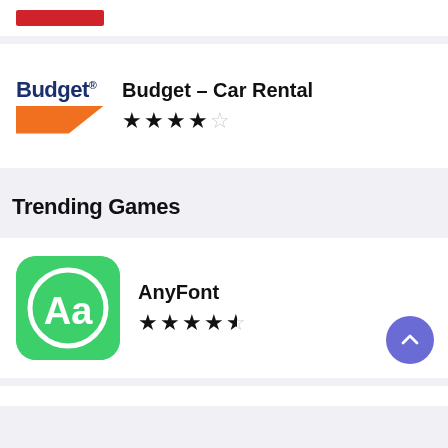[Figure (screenshot): Top partial card with a red logo bar visible at top]
[Figure (logo): Budget car rental logo - blue text 'Budget' with orange diagonal stripe]
Budget – Car Rental
[Figure (other): 4 out of 5 stars rating for Budget Car Rental]
Trending Games
[Figure (logo): AnyFont app logo - green background with white circle containing 'Aa']
AnyFont
[Figure (other): 4.5 out of 5 stars rating for AnyFont]